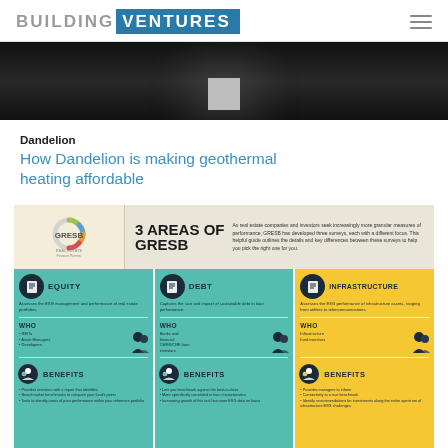BUILDING VENTURES
[Figure (photo): Black and white photo of a concrete or stone block object lit from below against a dark background]
Dandelion
How Dandelion is making geothermal heating affordable
[Figure (infographic): Infographic titled '3 AREAS OF GRESB' showing three columns: Equity, Debt, and Infrastructure, each with Who and Benefits sections. GRESB Real Estate Finance Partner logo on left.]